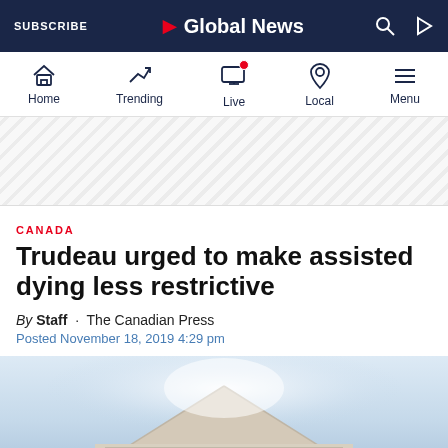SUBSCRIBE · Global News
[Figure (screenshot): Global News website navigation bar with Home, Trending, Live, Local, Menu icons]
[Figure (other): Advertisement banner with diagonal stripe pattern]
CANADA
Trudeau urged to make assisted dying less restrictive
By Staff · The Canadian Press
Posted November 18, 2019 4:29 pm
[Figure (photo): Architectural photo of a neoclassical building rooftop with light emanating behind it]